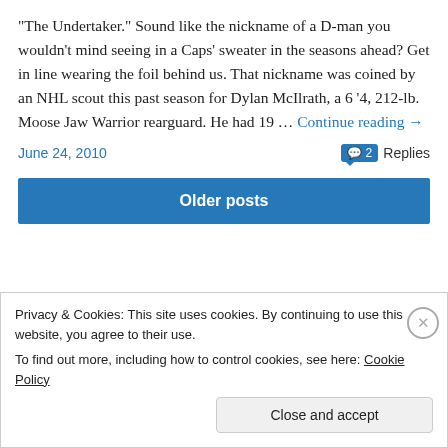"The Undertaker." Sound like the nickname of a D-man you wouldn't mind seeing in a Caps' sweater in the seasons ahead? Get in line wearing the foil behind us. That nickname was coined by an NHL scout this past season for Dylan McIlrath, a 6 '4, 212-lb. Moose Jaw Warrior rearguard. He had 19 … Continue reading →
June 24, 2010    2 Replies
Older posts
Privacy & Cookies: This site uses cookies. By continuing to use this website, you agree to their use. To find out more, including how to control cookies, see here: Cookie Policy
Close and accept